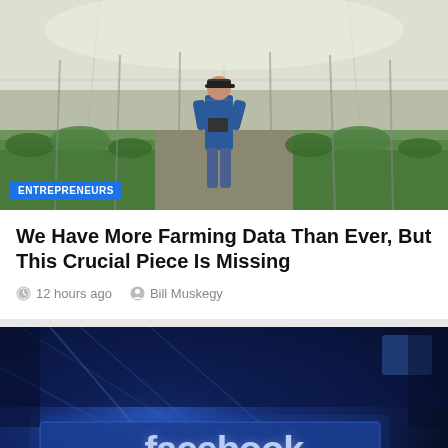[Figure (photo): Person standing in a greenhouse/polytunnel with rows of green plants, wearing blue jacket and jeans, holding a tablet or clipboard. Natural light through white plastic sheeting.]
ENTREPRENEURS
We Have More Farming Data Than Ever, But This Crucial Piece Is Missing
12 hours ago   Bill Muskegy
[Figure (photo): Close-up dramatic blue-toned photo of illuminated Facebook logo sign/letters on a dark background with light rays emanating outward.]
ENTREPRENEURS